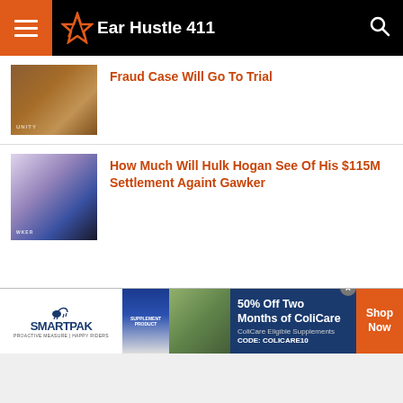Ear Hustle 411
Fraud Case Will Go To Trial
How Much Will Hulk Hogan See Of His $115M Settlement Againt Gawker
[Figure (photo): Advertisement banner for SmartPak featuring product image, horse and rider photo, and text: 50% Off Two Months of ColiCare, ColiCare Eligible Supplements, CODE: COLICARE10, Shop Now]